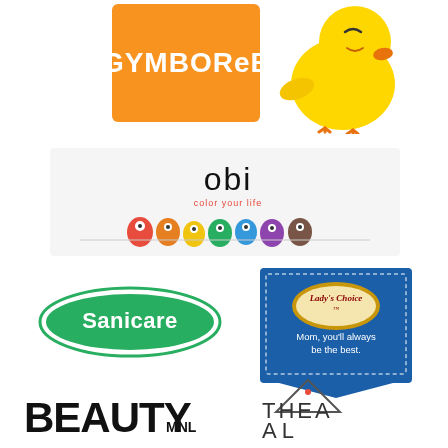[Figure (logo): Gymboree logo: white bold text on orange square background]
[Figure (logo): Yellow cartoon chick illustration]
[Figure (logo): Obi color your life logo with colorful monster characters on banner]
[Figure (logo): Sanicare logo: white text in green oval]
[Figure (logo): Lady's Choice logo with text Mom, you'll always be the best on blue banner]
[Figure (logo): BeautyMNL text logo in bold black]
[Figure (logo): Althea logo with triangle house shape]